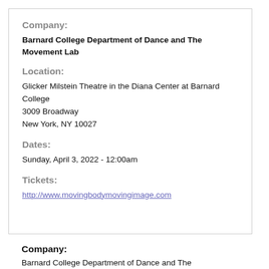Company:
Barnard College Department of Dance and The Movement Lab
Location:
Glicker Milstein Theatre in the Diana Center at Barnard College
3009 Broadway
New York, NY 10027
Dates:
Sunday, April 3, 2022 - 12:00am
Tickets:
http://www.movingbodymovingimage.com
Company:
Barnard College Department of Dance and The Movement Lab